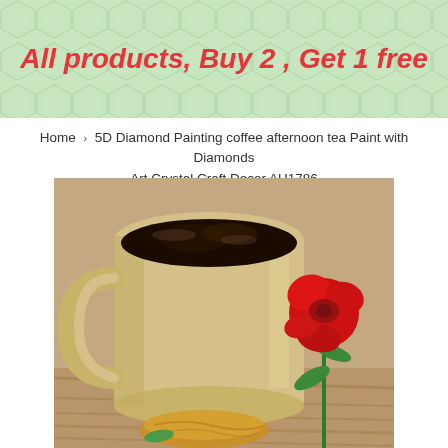All products, Buy 2 , Get 1 free
Home › 5D Diamond Painting coffee afternoon tea Paint with Diamonds Art Crystal Craft Decor AH1786
[Figure (photo): Product photo of a beige ceramic coffee mug filled with dark coffee, with a red rose and a pastry/cookie on a wooden table background. The image appears to be a reference photo for a diamond painting craft kit.]